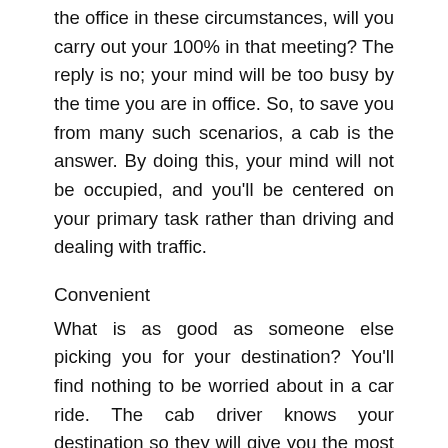the office in these circumstances, will you carry out your 100% in that meeting? The reply is no; your mind will be too busy by the time you are in office. So, to save you from many such scenarios, a cab is the answer. By doing this, your mind will not be occupied, and you'll be centered on your primary task rather than driving and dealing with traffic.
Convenient
What is as good as someone else picking you for your destination? You'll find nothing to be worried about in a car ride. The cab driver knows your destination so they will give you the most effective route. There is absolutely no car problem to be concerned about. For example, there are lots of small things to look after when taking your car out towards a destination, such as the petrol, the tires air pressure, engine oil, the overall